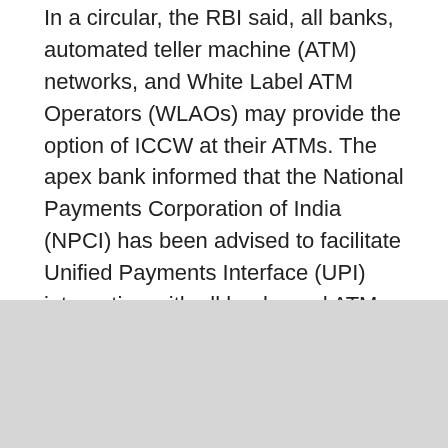In a circular, the RBI said, all banks, automated teller machine (ATM) networks, and White Label ATM Operators (WLAOs) may provide the option of ICCW at their ATMs. The apex bank informed that the National Payments Corporation of India (NPCI) has been advised to facilitate Unified Payments Interface (UPI) integration with all banks and ATM networks.
[Figure (other): A card/teaser block with bold headline 'Fact Check: Video of astronaut walking on road shared with false claim that it is from J&K' and a thumbnail image showing a person in a white suit on a road at night]